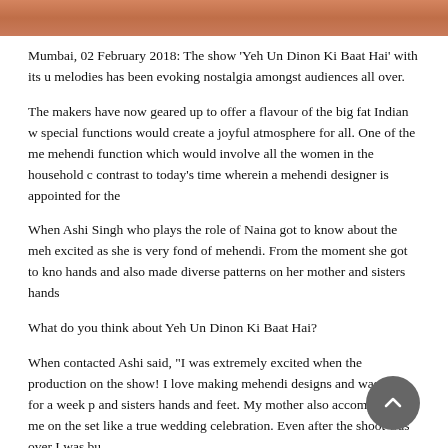[Figure (photo): Top portion of an image showing people, cropped at top of page]
Mumbai, 02 February 2018: The show 'Yeh Un Dinon Ki Baat Hai' with its u melodies has been evoking nostalgia amongst audiences all over.
The makers have now geared up to offer a flavour of the big fat Indian w special functions would create a joyful atmosphere for all. One of the me mehendi function which would involve all the women in the household c contrast to today's time wherein a mehendi designer is appointed for the
When Ashi Singh who plays the role of Naina got to know about the meh excited as she is very fond of mehendi. From the moment she got to kno hands and also made diverse patterns on her mother and sisters hands
What do you think about Yeh Un Dinon Ki Baat Hai?
When contacted Ashi said, "I was extremely excited when the production on the show! I love making mehendi designs and was busy for a week p and sisters hands and feet. My mother also accompanied me on the set like a true wedding celebration. Even after the shoot was over I was bu